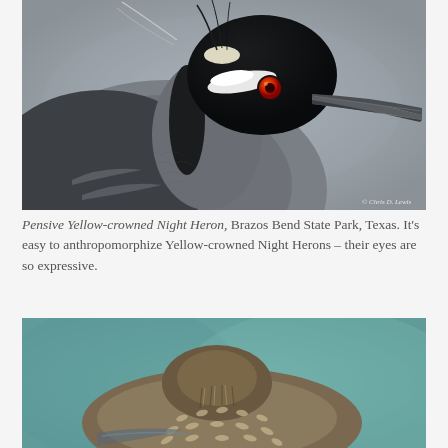[Figure (photo): Close-up photograph of a Yellow-crowned Night Heron with striking red eye, black and white head markings, gray feathers, and long beak, set against a blurred gray background. Watermark reads '© Chris D. Lewis'.]
Pensive Yellow-crowned Night Heron, Brazos Bend State Park, Texas. It's easy to anthropomorphize Yellow-crowned Night Herons – their eyes are so expressive.
[Figure (photo): Photograph of a Yellow-crowned Night Heron viewed from above/side, showing brown and cream spotted feathers on back and wings, against a teal/green blurred background.]